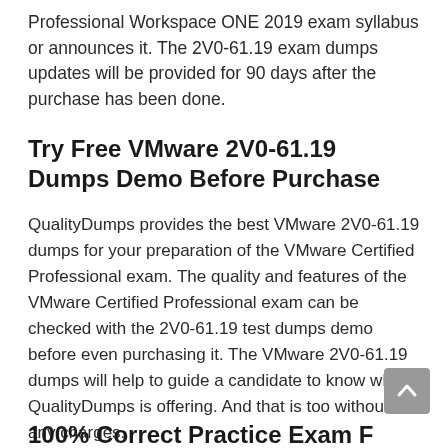Professional Workspace ONE 2019 exam syllabus or announces it. The 2V0-61.19 exam dumps updates will be provided for 90 days after the purchase has been done.
Try Free VMware 2V0-61.19 Dumps Demo Before Purchase
QualityDumps provides the best VMware 2V0-61.19 dumps for your preparation of the VMware Certified Professional exam. The quality and features of the VMware Certified Professional exam can be checked with the 2V0-61.19 test dumps demo before even purchasing it. The VMware 2V0-61.19 dumps will help to guide a candidate to know what QualityDumps is offering. And that is too without any charges.